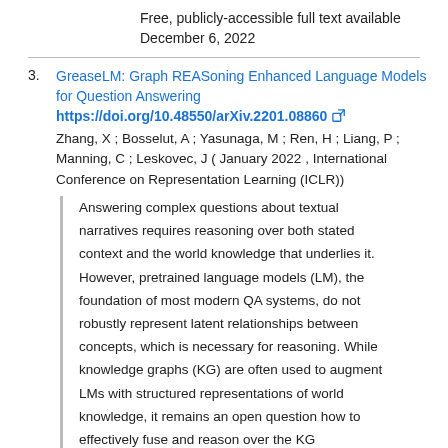Free, publicly-accessible full text available December 6, 2022
GreaseLM: Graph REASoning Enhanced Language Models for Question Answering https://doi.org/10.48550/arXiv.2201.08860 Zhang, X ; Bosselut, A ; Yasunaga, M ; Ren, H ; Liang, P ; Manning, C ; Leskovec, J ( January 2022 , International Conference on Representation Learning (ICLR))
Answering complex questions about textual narratives requires reasoning over both stated context and the world knowledge that underlies it. However, pretrained language models (LM), the foundation of most modern QA systems, do not robustly represent latent relationships between concepts, which is necessary for reasoning. While knowledge graphs (KG) are often used to augment LMs with structured representations of world knowledge, it remains an open question how to effectively fuse and reason over the KG